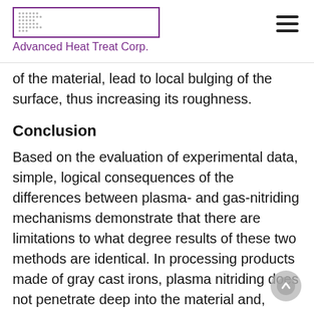Advanced Heat Treat Corp.
of the material, lead to local bulging of the surface, thus increasing its roughness.
Conclusion
Based on the evaluation of experimental data, simple, logical consequences of the differences between plasma- and gas-nitriding mechanisms demonstrate that there are limitations to what degree results of these two methods are identical. In processing products made of gray cast irons, plasma nitriding does not penetrate deep into the material and, therefore, formation of the nitrided layer is limited to only the surface of the product. Therefore, plasma nitriding has